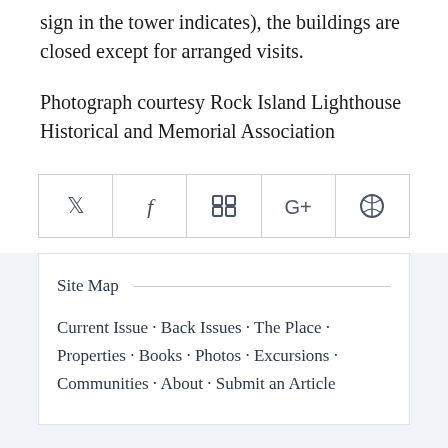sign in the tower indicates), the buildings are closed except for arranged visits.
Photograph courtesy Rock Island Lighthouse Historical and Memorial Association
[Figure (infographic): Social media share bar with icons for Twitter, Facebook, LinkedIn, Google+, and Pinterest]
Site Map
Current Issue · Back Issues · The Place · Properties · Books · Photos · Excursions · Communities · About · Submit an Article